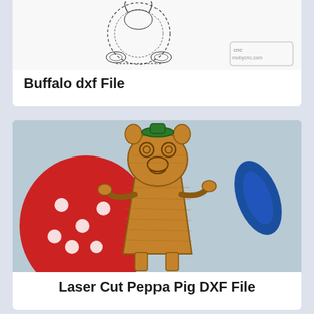[Figure (illustration): Line drawing / schematic of buffalo dxf file, with mobycnc.com watermark logo in bottom right]
Buffalo dxf File
[Figure (photo): Photo of a laser cut wooden Peppa Pig figure standing in front of colorful props (red polka dot fabric and blue leaf shapes)]
Laser Cut Peppa Pig DXF File